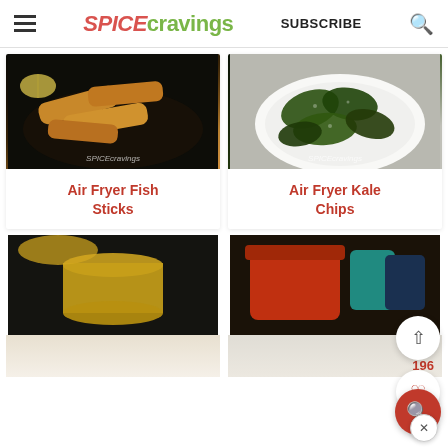SPICEcravings SUBSCRIBE
[Figure (photo): Air fryer fish sticks in a dark basket with lemon]
Air Fryer Fish Sticks
[Figure (photo): Air fryer kale chips on a white plate]
Air Fryer Kale Chips
[Figure (photo): Turmeric golden milk smoothie in glass]
[Figure (photo): Red pot with colorful containers]